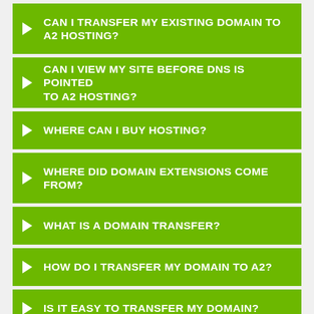CAN I TRANSFER MY EXISTING DOMAIN TO A2 HOSTING?
CAN I VIEW MY SITE BEFORE DNS IS POINTED TO A2 HOSTING?
WHERE CAN I BUY HOSTING?
WHERE DID DOMAIN EXTENSIONS COME FROM?
WHAT IS A DOMAIN TRANSFER?
HOW DO I TRANSFER MY DOMAIN TO A2?
IS IT EASY TO TRANSFER MY DOMAIN?
WHY ARE DOMAIN EXTENSIONS NEEDED?